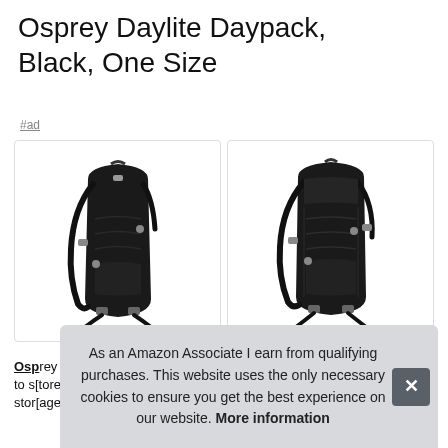Osprey Daylite Daypack, Black, One Size
#ad
[Figure (photo): Two views of an Osprey Daylite black daypack backpack shown side by side in separate bordered cards.]
Osprey [text partially obscured] to s[tore] stor[age]
As an Amazon Associate I earn from qualifying purchases. This website uses the only necessary cookies to ensure you get the best experience on our website. More information